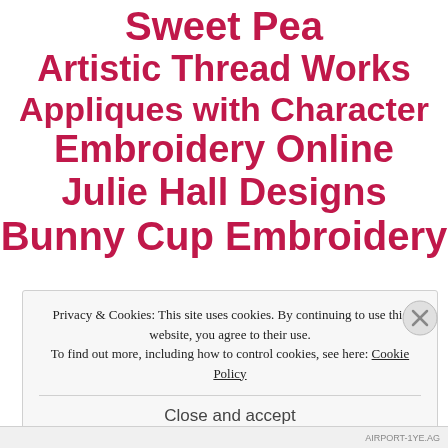Sweet Pea
Artistic Thread Works
Appliques with Character
Embroidery Online
Julie Hall Designs
Bunny Cup Embroidery
Privacy & Cookies: This site uses cookies. By continuing to use this website, you agree to their use.
To find out more, including how to control cookies, see here: Cookie Policy
Close and accept